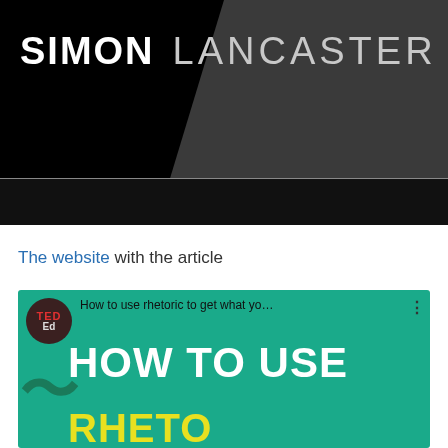[Figure (screenshot): Video thumbnail showing a person in dark clothing against black background with text 'SIMON LANCASTER' overlaid in white]
The website with the article
[Figure (screenshot): TED-Ed YouTube video thumbnail for 'How to use rhetoric to get what yo...' showing teal background with large white text 'HOW TO USE' and yellow text below]